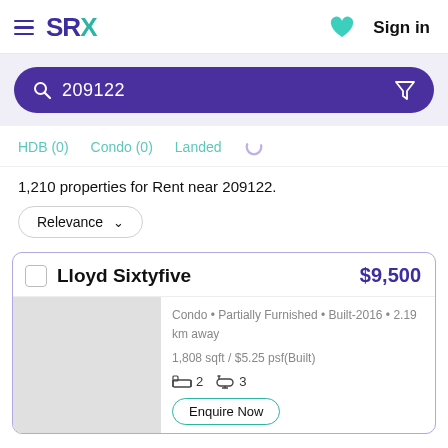SRX  Sign in
209122
HDB (0)  Condo (0)  Landed (0)
1,210 properties for Rent near 209122.
Relevance
Lloyd Sixtyfive  $9,500
Condo • Partially Furnished • Built-2016 • 2.19 km away
1,808 sqft / $5.25 psf(Built)
2 bedrooms  3 bathrooms
Enquire Now